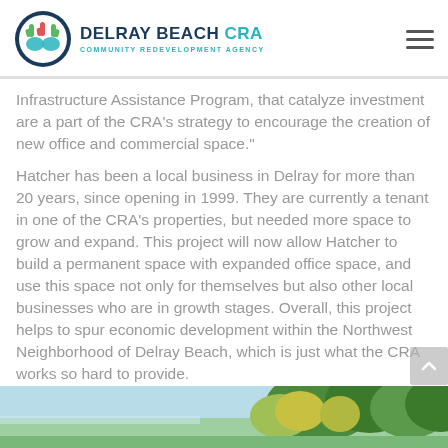DELRAY BEACH CRA — Community Redevelopment Agency
Infrastructure Assistance Program, that catalyze investment are a part of the CRA's strategy to encourage the creation of new office and commercial space."
Hatcher has been a local business in Delray for more than 20 years, since opening in 1999. They are currently a tenant in one of the CRA's properties, but needed more space to grow and expand. This project will now allow Hatcher to build a permanent space with expanded office space, and use this space not only for themselves but also other local businesses who are in growth stages. Overall, this project helps to spur economic development within the Northwest Neighborhood of Delray Beach, which is just what the CRA works so hard to provide.
[Figure (photo): Outdoor photo showing palm trees and green foliage against a light blue sky, partially visible at the bottom of the page.]